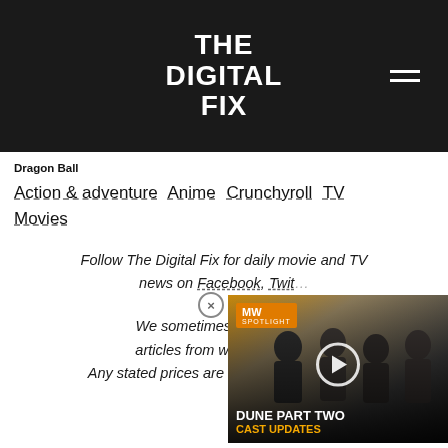THE DIGITAL FIX
Dragon Ball
Action & adventure   Anime   Crunchyroll   TV Movies
Follow The Digital Fix for daily movie and TV news on Facebook, Twit...
We sometimes include re... articles from which we ea... Any stated prices are correct at the time of
[Figure (screenshot): Video widget overlay showing MW Spotlight promo for Dune Part Two Cast Updates with play button, movie cast image, and MW Spotlight badge]